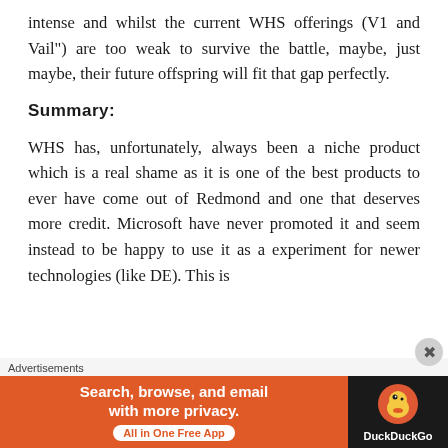intense and whilst the current WHS offerings (V1 and Vail") are too weak to survive the battle, maybe, just maybe, their future offspring will fit that gap perfectly.
Summary:
WHS has, unfortunately, always been a niche product which is a real shame as it is one of the best products to ever have come out of Redmond and one that deserves more credit. Microsoft have never promoted it and seem instead to be happy to use it as a experiment for newer technologies (like DE). This is
Advertisements
[Figure (infographic): DuckDuckGo advertisement banner: orange left side reading 'Search, browse, and email with more privacy. All in One Free App' with a white pill button, and dark right side with DuckDuckGo duck logo and text 'DuckDuckGo']